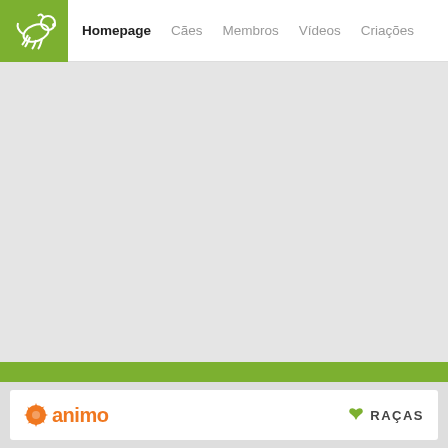[Figure (logo): Green square logo box with white dog/cat silhouette outline]
Homepage   Cães   Membros   Vídeos   Criações
[Figure (illustration): Large gray empty content area below the navigation bar]
[Figure (logo): Bottom section with green bar, white card, orange animo logo on left, and RAÇAS label with dog icon on right]